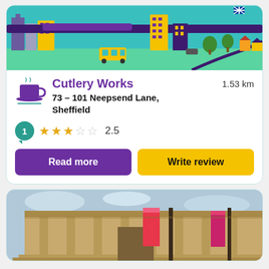[Figure (illustration): Illustrated city skyline banner with buildings, tram, bus, trees and roads on teal background]
Cutlery Works
1.53 km
73 – 101 Neepsend Lane, Sheffield
1 review, rating 2.5 stars
Read more
Write review
[Figure (photo): Exterior photo of a classical stone building with columns and pink/red banners]